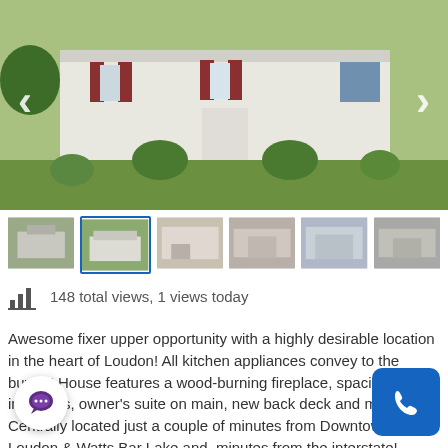[Figure (photo): Aerial/elevated front view of a single-story white house with red shutters, green lawn, and stepping stone path, with navigation arrows on left and right]
[Figure (photo): Row of 6 thumbnail images of the property]
148 total views,  1 views today
Awesome fixer upper opportunity with a highly desirable location in the heart of Loudon! All kitchen appliances convey to the buyer!! House features a wood-burning fireplace, spacious walk-in closets, owner's suite on main, new back deck and more! Centrally located just a couple of minutes from Downtown Loudon & Watts Bar Lake and minutes from the interstate! Already connected to public utilities, you can enjoy of all this with low taxes and at a great price!! Property being sold as is.